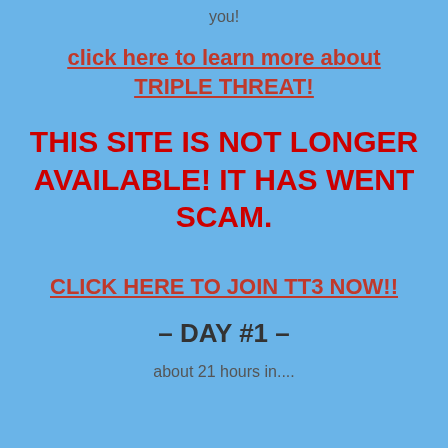you!
click here to learn more about TRIPLE THREAT!
THIS SITE IS NOT LONGER AVAILABLE!  IT HAS WENT SCAM.
CLICK HERE TO JOIN TT3 NOW!!
– DAY #1 –
about 21 hours in....